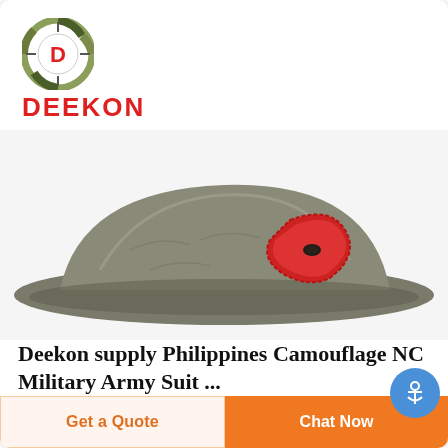[Figure (logo): Deekon logo: circular camouflage pattern ring with red D in center, red DEEKON text below]
[Figure (photo): Olive/grey military beret with red felt badge/shield on the side, white background]
Deekon supply Philippines Camouflage NC Military Army Suit ...
Fabric style Rip-stop, plain, twill, herringbone Pattern Camouflage pattern can be customized Fabric weight 190-240gsm Dye Eco-friendly Design Can be
Get a Quote
Chat Now